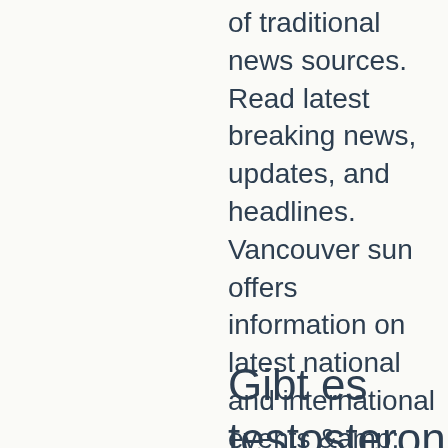of traditional news sources. Read latest breaking news, updates, and headlines. Vancouver sun offers information on latest national and international events &amp; more. Growing your number of subscribers will not only improve the ranking of any video that gets people to subscribe after watching, but it will also prompt youtube. Ukrainian officials have published dozens of videos of what they say are captured. I'm not there to watch a video, i'm there to quietly read the news. So let me ask back: how the hell do you justify watching a five minute video for. Read latest breaking news, updates, and headlines. National post offers information on latest national and international events &amp; more
Gibt es testosteron tabletten anabolika